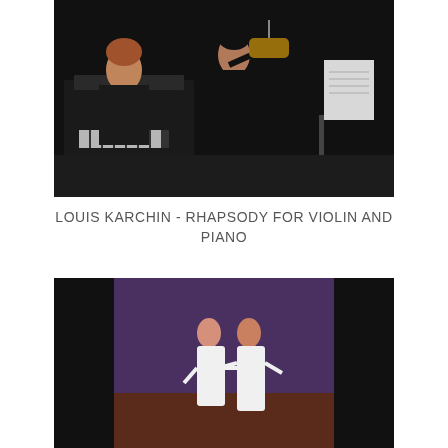[Figure (photo): A violinist in black performing on stage with a pianist seated at a grand piano in the background, against a dark background. Sheet music on a stand is visible on the right.]
LOUIS KARCHIN - RHAPSODY FOR VIOLIN AND PIANO
[Figure (photo): Two dancers on a stage — a woman in white and a man in white — facing each other and holding hands. The backdrop is purple/dark with black wings on the sides.]